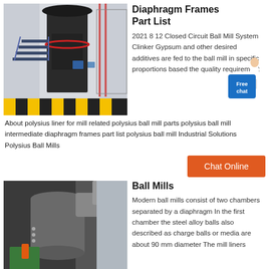[Figure (photo): Industrial vertical mill machine inside a factory, with steel frame, stairs, pipes, and yellow-black safety markings on the floor.]
Diaphragm Frames Part List
2021 8 12 Closed Circuit Ball Mill System Clinker Gypsum and other desired additives are fed to the ball mill in specific proportions based the quality requirement
About polysius liner for mill related polysius ball mill parts polysius ball mill intermediate diaphragm frames part list polysius ball mill Industrial Solutions Polysius Ball Mills
[Figure (illustration): Free chat button/widget showing a woman figure and blue box with 'Free chat' text]
[Figure (other): Orange Chat Online button]
[Figure (photo): Industrial ball mill machinery inside a factory showing large cylindrical pipe and green/orange equipment components.]
Ball Mills
Modern ball mills consist of two chambers separated by a diaphragm In the first chamber the steel alloy balls also described as charge balls or media are about 90 mm diameter The mill liners